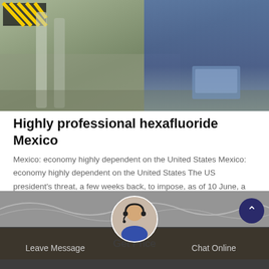[Figure (photo): Industrial/warehouse scene with workers in blue clothing, yellow and black hazard-striped shelving visible, and equipment being handled on a factory floor.]
Highly professional hexafluoride Mexico
Mexico: economy highly dependent on the United States Mexico: economy highly dependent on the United States The US president's threat, a few weeks back, to impose, as of 10 June, a 5% customs tariff on all Mexican imports (increasing incrementally each month to 25% by 1 October), exposed Mexican vulnerability.
Get Price
[Figure (photo): Partial background photo visible at the bottom of the page with a customer service representative avatar and bottom navigation bar with Leave Message and Chat Online options.]